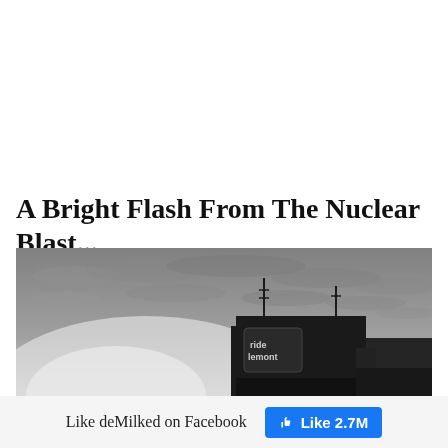A Bright Flash From The Nuclear Blast...
[Figure (photo): Black and white photograph of a city building silhouette with antennas against a dramatic cloudy sky, bright light source near the horizon suggesting a distant flash or sunrise/sunset.]
Like deMilked on Facebook
Like 2.7M